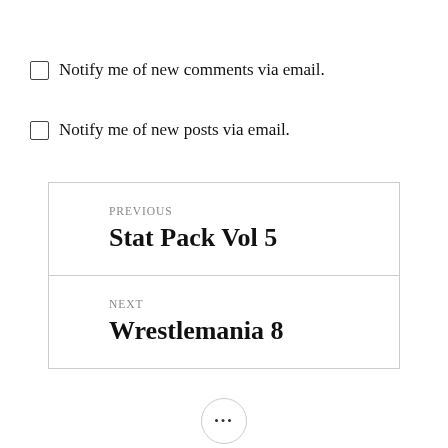Notify me of new comments via email.
Notify me of new posts via email.
PREVIOUS
Stat Pack Vol 5
NEXT
Wrestlemania 8